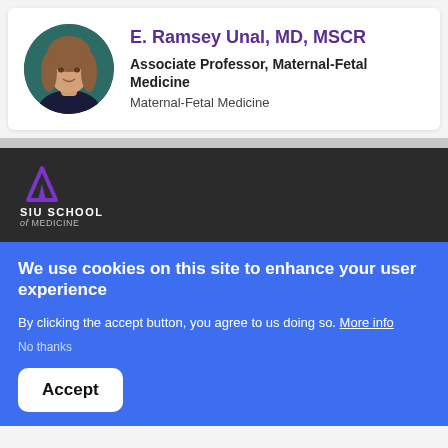[Figure (photo): Circular headshot photo of E. Ramsey Unal, a woman with medium-length brown hair, wearing a dark top and necklace, against a teal/dark background.]
E. Ramsey Unal, MD, MSCR
Associate Professor, Maternal-Fetal Medicine
Maternal-Fetal Medicine
[Figure (logo): SIU School of Medicine logo: purple angular bracket/chevron icon above text 'SIU SCHOOL of MEDICINE' in white on dark background.]
We use cookies on this site to enhance your user experience
By clicking the accept button, you agree to us doing so. More info
No thanks
Accept